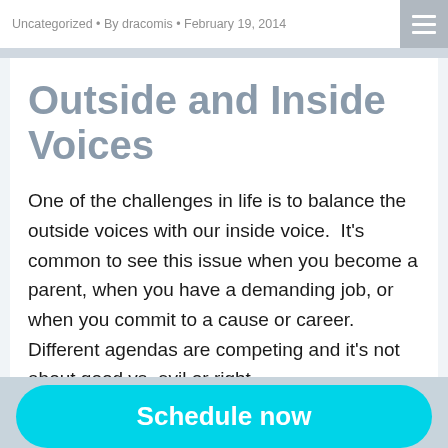Uncategorized • By dracomis • February 19, 2014
Outside and Inside Voices
One of the challenges in life is to balance the outside voices with our inside voice.  It's common to see this issue when you become a parent, when you have a demanding job, or when you commit to a cause or career.  Different agendas are competing and it's not about good vs. evil or right...
Details ▶
Schedule now